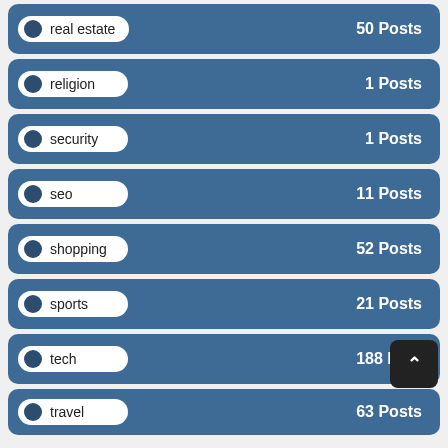real estate — 50 Posts
religion — 1 Posts
security — 1 Posts
seo — 11 Posts
shopping — 52 Posts
sports — 21 Posts
tech — 188 Posts
travel — 63 Posts